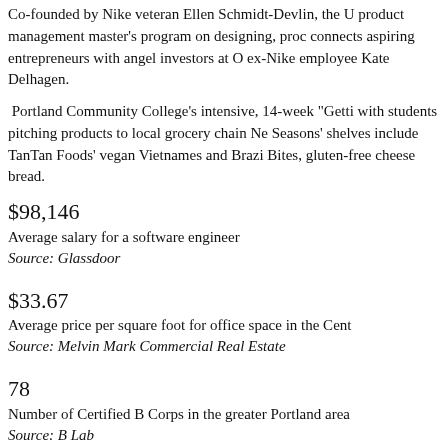Co-founded by Nike veteran Ellen Schmidt-Devlin, the product management master's program on designing, pro connects aspiring entrepreneurs with angel investors at O ex-Nike employee Kate Delhagen.
Portland Community College's intensive, 14-week "Getti with students pitching products to local grocery chain Ne Seasons' shelves include TanTan Foods' vegan Vietnames and Brazi Bites, gluten-free cheese bread.
$98,146
Average salary for a software engineer
Source: Glassdoor
$33.67
Average price per square foot for office space in the Cent
Source: Melvin Mark Commercial Real Estate
78
Number of Certified B Corps in the greater Portland area
Source: B Lab